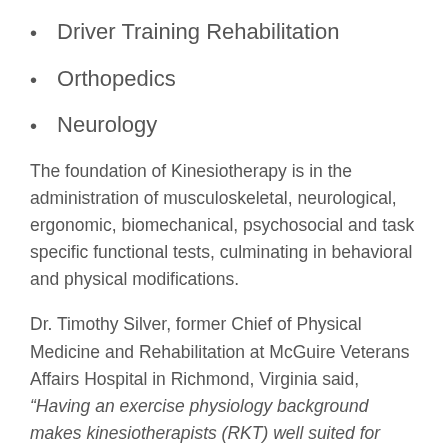Driver Training Rehabilitation
Orthopedics
Neurology
The foundation of Kinesiotherapy is in the administration of musculoskeletal, neurological, ergonomic, biomechanical, psychosocial and task specific functional tests, culminating in behavioral and physical modifications.
Dr. Timothy Silver, former Chief of Physical Medicine and Rehabilitation at McGuire Veterans Affairs Hospital in Richmond, Virginia said, “Having an exercise physiology background makes kinesiotherapists (RKT) well suited for additional sub-specialization in many areas. We have RKTs who provide cardiac and pulmonary rehab, aquatic therapy, driver training, and functional